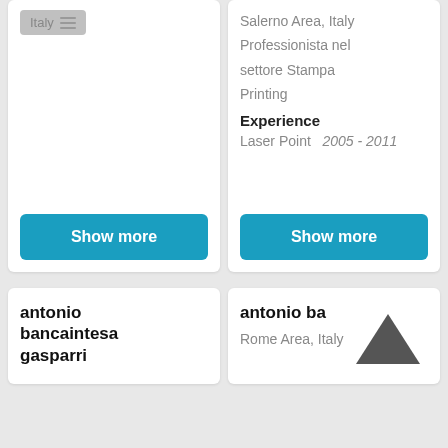[Figure (screenshot): UI tag/button showing 'Italy' with a hamburger menu icon, gray background]
Salerno Area, Italy
Professionista nel settore Stampa
Printing
Experience
Laser Point   2005 - 2011
Show more
Show more
antonio bancaintesa gasparri
antonio ba...
Rome Area, Italy